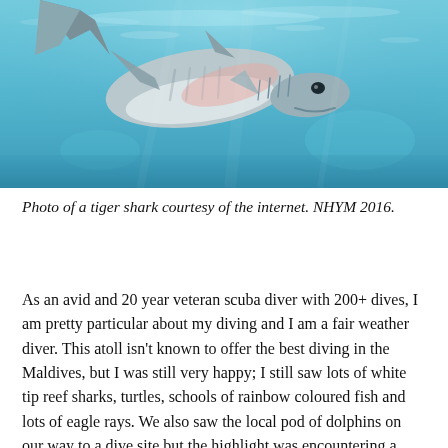[Figure (photo): Underwater photo of a tiger shark swimming, viewed from below against a turquoise blue ocean background with light filtering from above.]
Photo of a tiger shark courtesy of the internet. NHYM 2016.
As an avid and 20 year veteran scuba diver with 200+ dives, I am pretty particular about my diving and I am a fair weather diver. This atoll isn't known to offer the best diving in the Maldives, but I was still very happy; I still saw lots of white tip reef sharks, turtles, schools of rainbow coloured fish and lots of eagle rays. We also saw the local pod of dolphins on our way to a dive site but the highlight was encountering a tiger shark, my first one ever, which was so electrifying in its positioning and attitude...